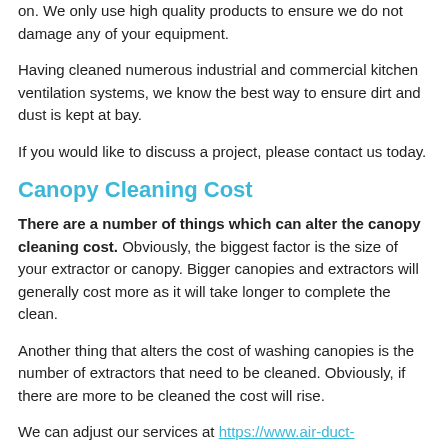on. We only use high quality products to ensure we do not damage any of your equipment.
Having cleaned numerous industrial and commercial kitchen ventilation systems, we know the best way to ensure dirt and dust is kept at bay.
If you would like to discuss a project, please contact us today.
Canopy Cleaning Cost
There are a number of things which can alter the canopy cleaning cost. Obviously, the biggest factor is the size of your extractor or canopy. Bigger canopies and extractors will generally cost more as it will take longer to complete the clean.
Another thing that alters the cost of washing canopies is the number of extractors that need to be cleaned. Obviously, if there are more to be cleaned the cost will rise.
We can adjust our services at https://www.air-duct-cleaning.co.uk/rutland/barrowden/ to meet your individual needs, so please let us know if you've got a specific budget available.